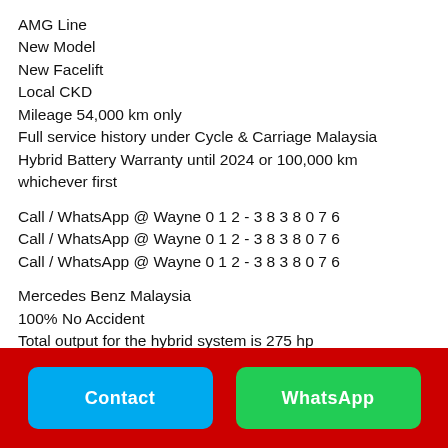AMG Line
New Model
New Facelift
Local CKD
Mileage 54,000 km only
Full service history under Cycle & Carriage Malaysia
Hybrid Battery Warranty until 2024 or 100,000 km whichever first

Call / WhatsApp @ Wayne 0 1 2 - 3 8 3 8 0 7 6
Call / WhatsApp @ Wayne 0 1 2 - 3 8 3 8 0 7 6
Call / WhatsApp @ Wayne 0 1 2 - 3 8 3 8 0 7 6

Mercedes Benz Malaysia
100% No Accident
Total output for the hybrid system is 275 hp
AMG Line Version
7G @ 7-Shitronic transmission
Contact
WhatsApp